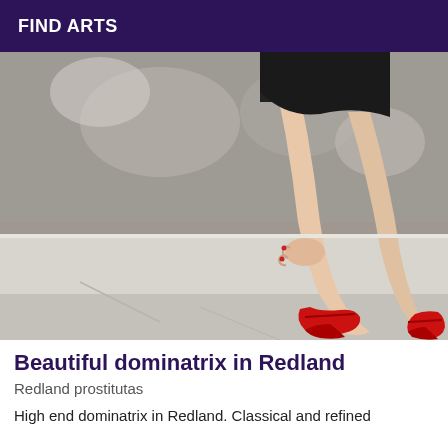FIND ARTS
[Figure (photo): Woman's legs in a short black dress and red high heels walking on a sidewalk in front of a shop window]
Beautiful dominatrix in Redland
Redland prostitutas
High end dominatrix in Redland. Classical and refined